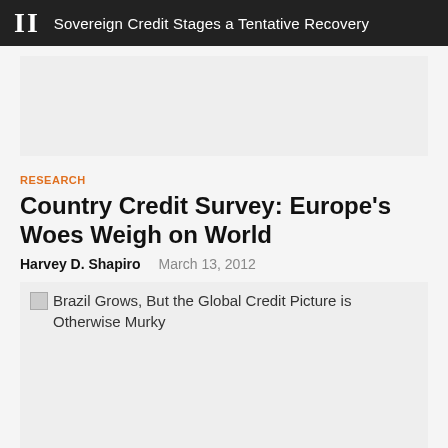II  Sovereign Credit Stages a Tentative Recovery
[Figure (other): Gray placeholder box (top image area)]
RESEARCH
Country Credit Survey: Europe's Woes Weigh on World
Harvey D. Shapiro    March 13, 2012
[Figure (photo): Broken image placeholder with alt text: Brazil Grows, But the Global Credit Picture is Otherwise Murky]
PORTFOLIO